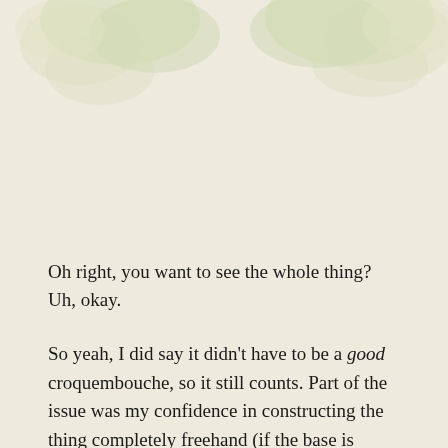[Figure (illustration): Soft watercolor floral illustration at the top of the page, showing pale green and cream flower/leaf shapes against the beige background]
Oh right, you want to see the whole thing? Uh, okay.
So yeah, I did say it didn’t have to be a good croquembouche, so it still counts. Part of the issue was my confidence in constructing the thing completely freehand (if the base is already not a nice